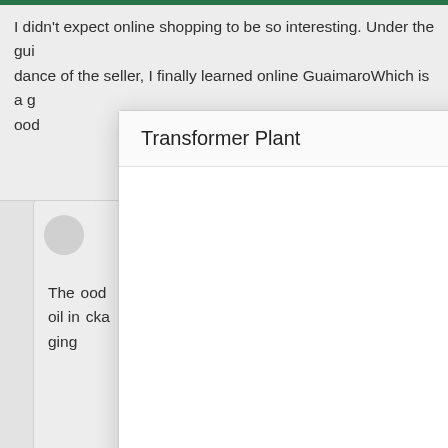I didn't expect online shopping to be so interesting. Under the guidance of the seller, I finally learned online GuaimaroWhich is a good
[Figure (screenshot): A modal dialog window titled 'Transformer Plant' overlaying a web page with review cards. The modal has a title bar with minimize, maximize, and close buttons, and a white content area.]
The ... ood oil in ... cka ging
I did ... e gui danc ... a g ood
Com
nam.
mailbox
Optional